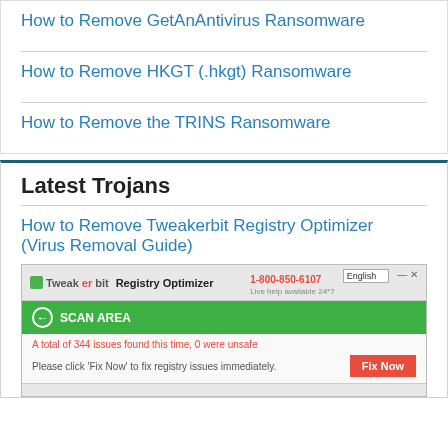How to Remove GetAnAntivirus Ransomware
How to Remove HKGT (.hkgt) Ransomware
How to Remove the TRINS Ransomware
Latest Trojans
How to Remove Tweakerbit Registry Optimizer (Virus Removal Guide)
[Figure (screenshot): Screenshot of Tweakerbit Registry Optimizer software showing SCAN AREA panel with green header, issue count '344 issues found, 0 were unsafe', and a red Fix Now button]